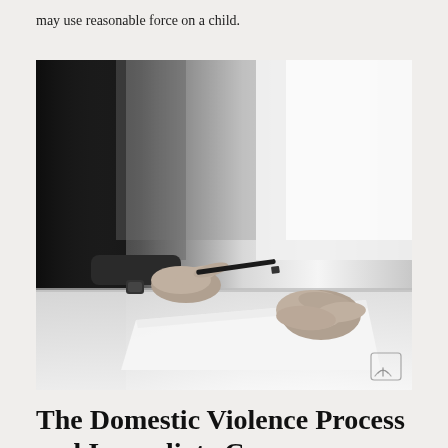may use reasonable force on a child.
[Figure (photo): Black and white photograph of two people at a table. One person, wearing a suit, holds a pen over a document/paper being handed across. The other person sits with hands clasped together. A small cast iron / wifi icon watermark appears in the lower right corner of the image.]
The Domestic Violence Process and Immediate Consequences: Part 4